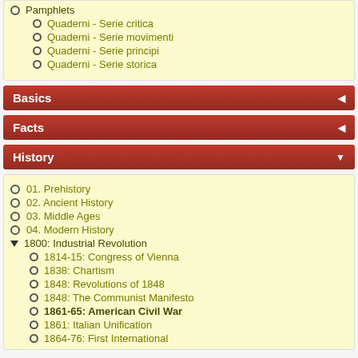Pamphlets
Quaderni - Serie critica
Quaderni - Serie movimenti
Quaderni - Serie principi
Quaderni - Serie storica
Basics
Facts
History
01. Prehistory
02. Ancient History
03. Middle Ages
04. Modern History
1800: Industrial Revolution
1814-15: Congress of Vienna
1838: Chartism
1848: Revolutions of 1848
1848: The Communist Manifesto
1861-65: American Civil War
1861: Italian Unification
1864-76: First International